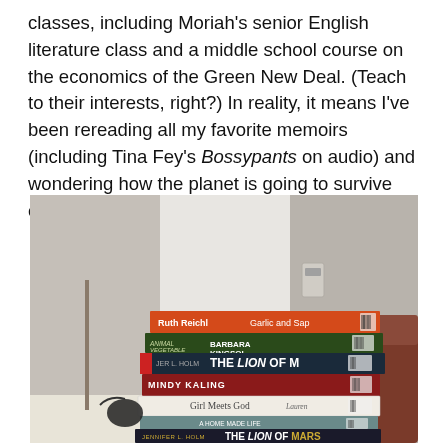classes, including Moriah's senior English literature class and a middle school course on the economics of the Green New Deal. (Teach to their interests, right?) In reality, it means I've been rereading all my favorite memoirs (including Tina Fey's Bossypants on audio) and wondering how the planet is going to survive capitalism.
[Figure (photo): A stack of books photographed on a table. Visible titles include: Ruth Reichl Garlic and Sap[phire], Animal Vegetable Miracle / Barbara Kingsol[ver], Jennifer L. Holm The Lion of M[ars], Mindy Kaling, Girl Meets God, A Homemade Life Holly Simmons, Expecting Adam, Jennifer L. Holm The Lion of Mars. Library barcodes visible on spines.]